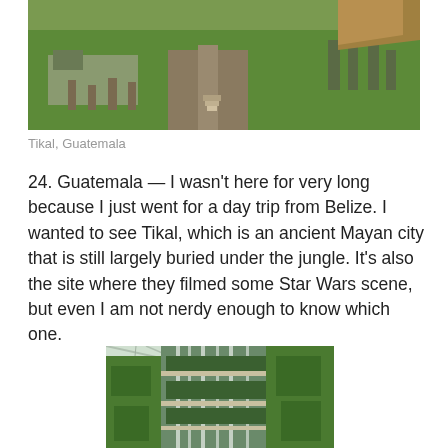[Figure (photo): Aerial view of Tikal, Guatemala — ancient Mayan ruins with green grass, stone structures, and a thatched roof building visible from above]
Tikal, Guatemala
24. Guatemala — I wasn't here for very long because I just went for a day trip from Belize.  I wanted to see Tikal, which is an ancient Mayan city that is still largely buried under the jungle.  It's also the site where they filmed some Star Wars scene, but even I am not nerdy enough to know which one.
[Figure (photo): Interior of a large greenhouse dome with lush green vegetation, waterfall features, and a glass lattice ceiling — likely Gardens by the Bay, Singapore]